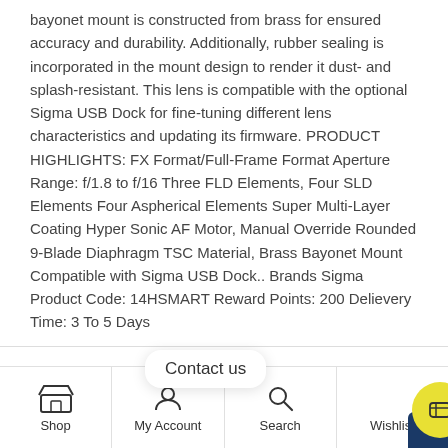bayonet mount is constructed from brass for ensured accuracy and durability. Additionally, rubber sealing is incorporated in the mount design to render it dust- and splash-resistant. This lens is compatible with the optional Sigma USB Dock for fine-tuning different lens characteristics and updating its firmware. PRODUCT HIGHLIGHTS: FX Format/Full-Frame Format Aperture Range: f/1.8 to f/16 Three FLD Elements, Four SLD Elements Four Aspherical Elements Super Multi-Layer Coating Hyper Sonic AF Motor, Manual Override Rounded 9-Blade Diaphragm TSC Material, Brass Bayonet Mount Compatible with Sigma USB Dock.. Brands Sigma Product Code: 14HSMART Reward Points: 200 Delievery Time: 3 To 5 Days
Related products
Shop | My Account | Search | Wishlist